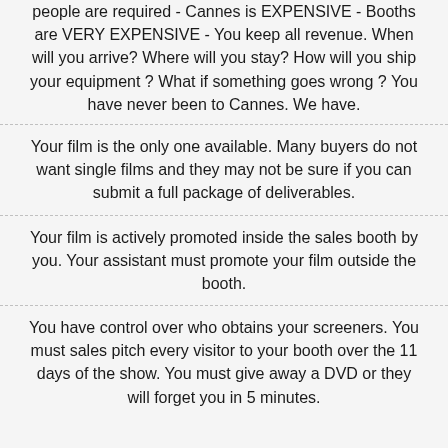people are required - Cannes is EXPENSIVE - Booths are VERY EXPENSIVE - You keep all revenue. When will you arrive? Where will you stay? How will you ship your equipment ? What if something goes wrong ? You have never been to Cannes. We have.
Your film is the only one available. Many buyers do not want single films and they may not be sure if you can submit a full package of deliverables.
Your film is actively promoted inside the sales booth by you. Your assistant must promote your film outside the booth.
You have control over who obtains your screeners. You must sales pitch every visitor to your booth over the 11 days of the show. You must give away a DVD or they will forget you in 5 minutes.